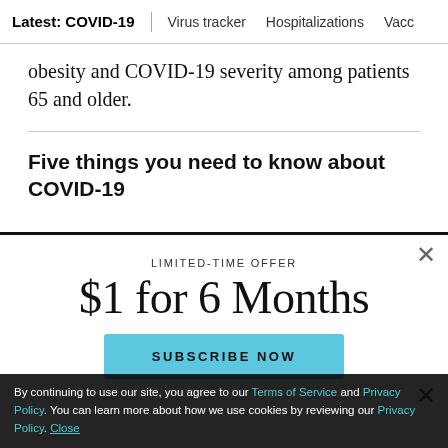Latest: COVID-19 | Virus tracker | Hospitalizations | Vacc
obesity and COVID-19 severity among patients 65 and older.
Five things you need to know about COVID-19
[Figure (screenshot): Subscription modal overlay with 'LIMITED-TIME OFFER', '$1 for 6 Months' heading and 'SUBSCRIBE NOW' button in light blue]
By continuing to use our site, you agree to our Terms of Service and Privacy Policy. You can learn more about how we use cookies by reviewing our Privacy Policy. Close